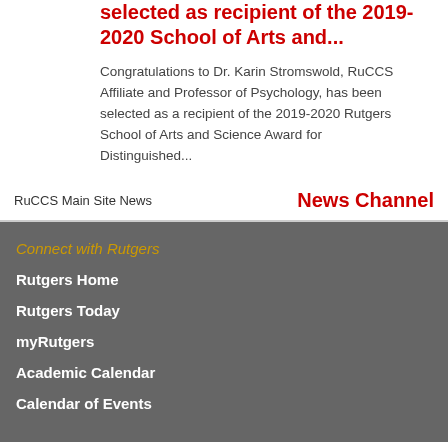selected as recipient of the 2019-2020 School of Arts and...
Congratulations to Dr. Karin Stromswold, RuCCS Affiliate and Professor of Psychology, has been selected as a recipient of the 2019-2020 Rutgers School of Arts and Science Award for Distinguished...
RuCCS Main Site News
News Channel
Connect with Rutgers
Rutgers Home
Rutgers Today
myRutgers
Academic Calendar
Calendar of Events